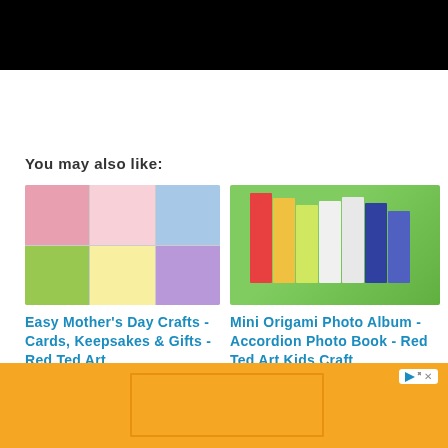[Figure (photo): Black header bar at the top of the page]
You may also like:
[Figure (photo): Mosaic collage of Mother's Day craft images including pink jar, flower card, colorful decorations]
Easy Mother's Day Crafts - Cards, Keepsakes & Gifts - Red Ted Art
[Figure (photo): Mini origami accordion photo album made of colorful folded paper panels on green background]
Mini Origami Photo Album - Accordion Photo Book - Red Ted Art Kids Craft
[Figure (other): Orange advertisement banner at the bottom with play/close icon and inner box outline]